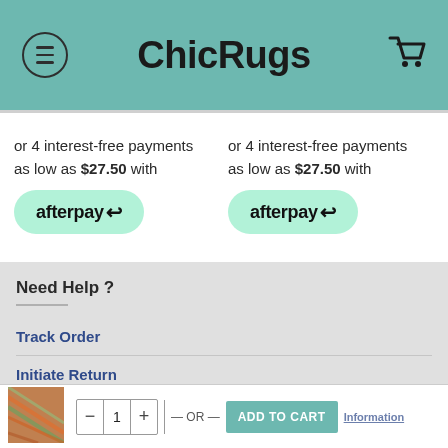ChicRugs
or 4 interest-free payments as low as $27.50 with afterpay
or 4 interest-free payments as low as $27.50 with afterpay
Need Help ?
Track Order
Initiate Return
Contact Us
Information
— OR —  ADD TO CART